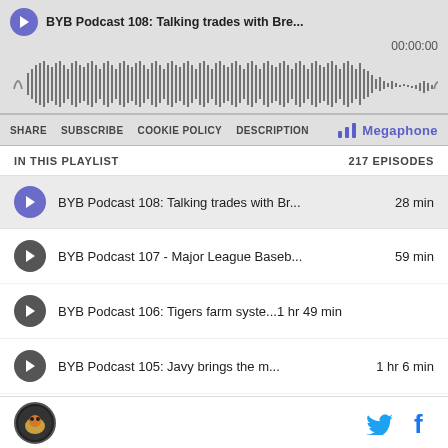[Figure (screenshot): Podcast player showing waveform visualization with play button and episode title 'BYB Podcast 108: Talking trades with Bre...' with timestamp 00:00:00]
SHARE  SUBSCRIBE  COOKIE POLICY  DESCRIPTION  Megaphone
IN THIS PLAYLIST  217 EPISODES
BYB Podcast 108: Talking trades with Br... 28 min
BYB Podcast 107 - Major League Baseb... 59 min
BYB Podcast 106: Tigers farm syste...1 hr 49 min
BYB Podcast 105: Javy brings the m... 1 hr 6 min
[Figure (logo): Circular logo with tiger illustration in bottom footer bar]